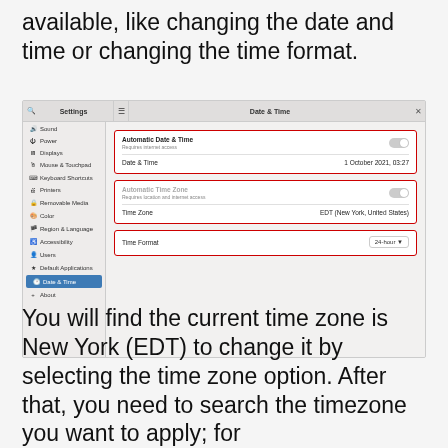available, like changing the date and time or changing the time format.
[Figure (screenshot): GNOME Settings window showing the Date & Time panel. Left sidebar lists settings categories with 'Date & Time' highlighted in blue. Right panel shows three red-outlined sections: 'Automatic Date & Time' toggle (off), 'Date & Time' showing '1 October 2021, 05:27'; 'Automatic Time Zone' toggle (off), 'Time Zone' showing 'EDT (New York, United States)'; and 'Time Format' showing '24-hour' dropdown.]
You will find the current time zone is New York (EDT) to change it by selecting the time zone option. After that, you need to search the timezone you want to apply; for